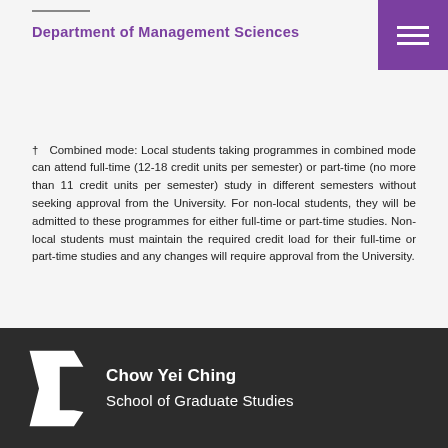Department of Management Sciences
† Combined mode: Local students taking programmes in combined mode can attend full-time (12-18 credit units per semester) or part-time (no more than 11 credit units per semester) study in different semesters without seeking approval from the University. For non-local students, they will be admitted to these programmes for either full-time or part-time studies. Non-local students must maintain the required credit load for their full-time or part-time studies and any changes will require approval from the University.
[Figure (logo): CityU Chow Yei Ching School of Graduate Studies logo in white on dark background]